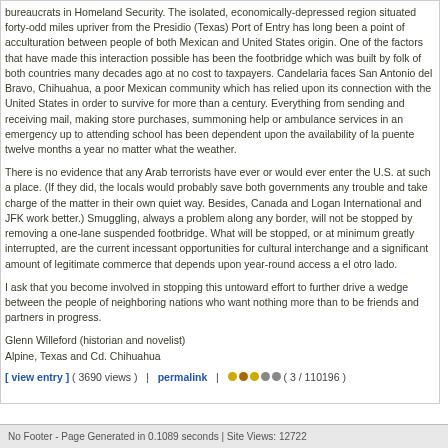bureaucrats in Homeland Security. The isolated, economically-depressed region situated forty-odd miles upriver from the Presidio (Texas) Port of Entry has long been a point of acculturation between people of both Mexican and United States origin. One of the factors that have made this interaction possible has been the footbridge which was built by folk of both countries many decades ago at no cost to taxpayers. Candelaria faces San Antonio del Bravo, Chihuahua, a poor Mexican community which has relied upon its connection with the United States in order to survive for more than a century. Everything from sending and receiving mail, making store purchases, summoning help or ambulance services in an emergency up to attending school has been dependent upon the availability of la puente twelve months a year no matter what the weather.
There is no evidence that any Arab terrorists have ever or would ever enter the U.S. at such a place. (If they did, the locals would probably save both governments any trouble and take charge of the matter in their own quiet way. Besides, Canada and Logan International and JFK work better.) Smuggling, always a problem along any border, will not be stopped by removing a one-lane suspended footbridge. What will be stopped, or at minimum greatly interrupted, are the current incessant opportunities for cultural interchange and a significant amount of legitimate commerce that depends upon year-round access a el otro lado.
I ask that you become involved in stopping this untoward effort to further drive a wedge between the people of neighboring nations who want nothing more than to be friends and partners in progress.
Glenn Willeford (historian and novelist)
Alpine, Texas and Cd. Chihuahua
[ view entry ] ( 3690 views )   |   permalink   |  ( 3 / 110196 )
<<First <Back | 12 | 13 | 14 | 15 | 16 | 17 | 18 | 19 | 20 | 21 | Next> Last>>
No Footer - Page Generated in 0.1089 seconds | Site Views: 12722